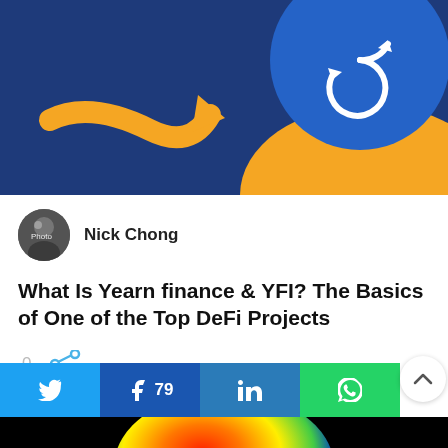[Figure (illustration): Hero banner image with dark blue background, orange arrow pointing right, and a blue circle with a white YFI/Yearn finance token symbol]
[Figure (photo): Author avatar photo of Nick Chong - circular profile photo]
Nick Chong
What Is Yearn finance & YFI? The Basics of One of the Top DeFi Projects
0
[Figure (infographic): Social sharing bar with Twitter, Facebook (79), LinkedIn, and WhatsApp buttons, plus a scroll-to-top button]
[Figure (photo): Bottom image showing a colorful 3D rendered object (red, orange, yellow, green gradient) on a black background]